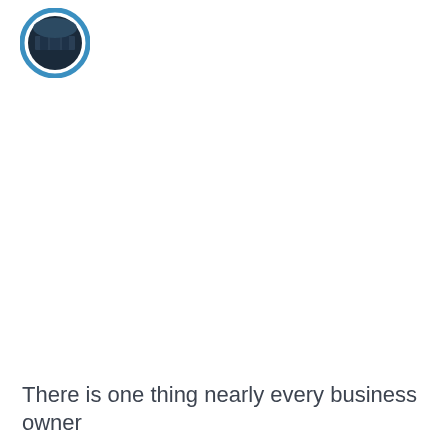[Figure (logo): Circular logo with blue border and dark interior image, positioned in top-left corner]
There is one thing nearly every business owner